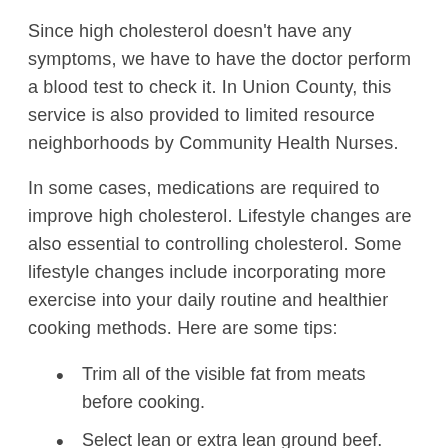Since high cholesterol doesn't have any symptoms, we have to have the doctor perform a blood test to check it. In Union County, this service is also provided to limited resource neighborhoods by Community Health Nurses.
In some cases, medications are required to improve high cholesterol. Lifestyle changes are also essential to controlling cholesterol. Some lifestyle changes include incorporating more exercise into your daily routine and healthier cooking methods. Here are some tips:
Trim all of the visible fat from meats before cooking.
Select lean or extra lean ground beef.